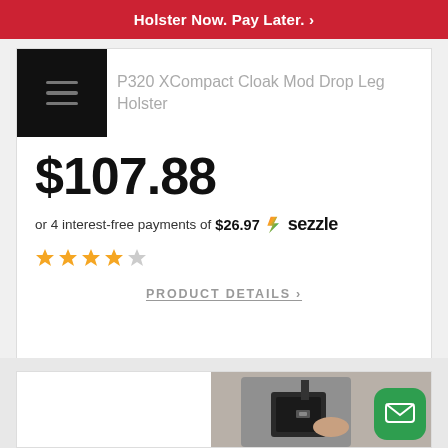Holster Now. Pay Later. >
P320 XCompact Cloak Mod Drop Leg Holster
$107.88
or 4 interest-free payments of $26.97 Sezzle
[Figure (other): 4 out of 5 stars rating]
PRODUCT DETAILS >
[Figure (photo): Partial view of a person wearing a shoulder holster with a firearm]